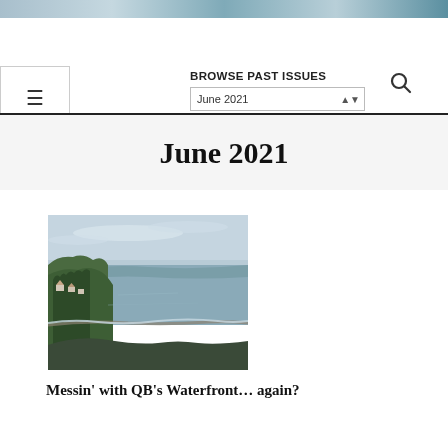BROWSE PAST ISSUES
June 2021
[Figure (photo): Aerial coastal view of a bay with a curved shoreline, forested hillside with houses on the left, calm water and overcast sky. Appears to be a Pacific Northwest coastal town.]
Messin' with QB's Waterfront… again?